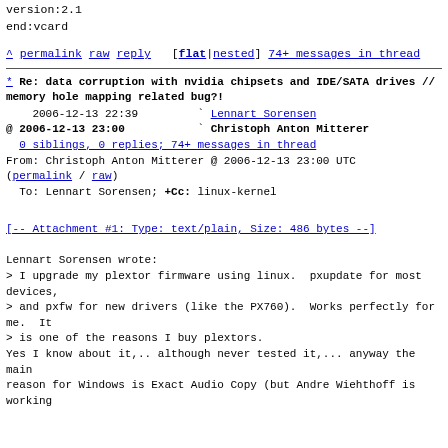version:2.1
end:vcard
^ permalink raw reply   [flat|nested] 74+ messages in thread
* Re: data corruption with nvidia chipsets and IDE/SATA drives // memory hole mapping related bug?!
2006-12-13 22:39         ` Lennart Sorensen
@ 2006-12-13 23:00           ` Christoph Anton Mitterer
  0 siblings, 0 replies; 74+ messages in thread
From: Christoph Anton Mitterer @ 2006-12-13 23:00 UTC (permalink / raw)
  To: Lennart Sorensen; +Cc: linux-kernel
[-- Attachment #1: Type: text/plain, Size: 486 bytes --]
Lennart Sorensen wrote:
> I upgrade my plextor firmware using linux.  pxupdate for most devices,
> and pxfw for new drivers (like the PX760).  Works perfectly for me.  It
> is one of the reasons I buy plextors.
Yes I know about it,.. although never tested it,... anyway the main
reason for Windows is Exact Audio Copy (but Andre Wiehthoff is working